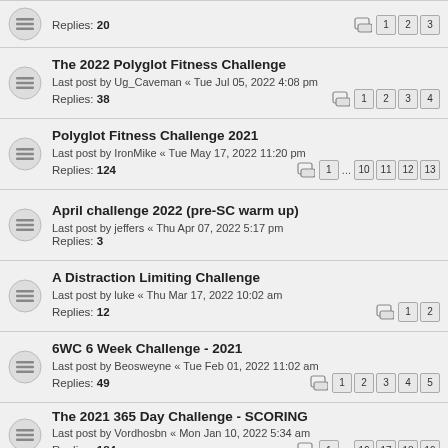Replies: 20 — pages: 1 2 3
The 2022 Polyglot Fitness Challenge — Last post by Ug_Caveman « Tue Jul 05, 2022 4:08 pm — Replies: 38 — pages: 1 2 3 4
Polyglot Fitness Challenge 2021 — Last post by IronMike « Tue May 17, 2022 11:20 pm — Replies: 124 — pages: 1 ... 10 11 12 13
April challenge 2022 (pre-SC warm up) — Last post by jeffers « Thu Apr 07, 2022 5:17 pm — Replies: 3
A Distraction Limiting Challenge — Last post by luke « Thu Mar 17, 2022 10:02 am — Replies: 12 — pages: 1 2
6WC 6 Week Challenge - 2021 — Last post by Beosweyne « Tue Feb 01, 2022 11:02 am — Replies: 49 — pages: 1 2 3 4 5
The 2021 365 Day Challenge - SCORING — Last post by Vordhosbn « Mon Jan 10, 2022 5:34 am — Replies: 184 — pages: 1 ... 16 17 18 19